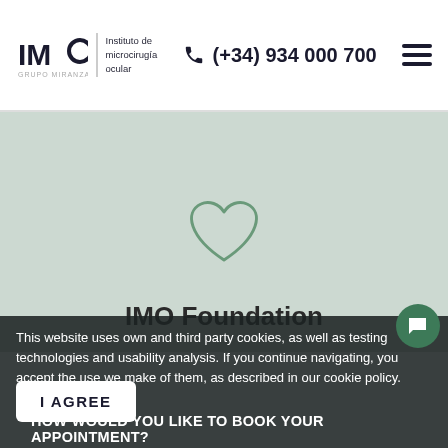IMO Instituto de microcirugía ocular GRUPO MIRANZA | (+34) 934 000 700
[Figure (illustration): Heart outline icon in sage green on light green background]
IMO Foundation
This website uses own and third party cookies, as well as testing technologies and usability analysis. If you continue navigating, you accept the use we make of them, as described in our cookie policy. More information
HOW WOULD YOU LIKE TO BOOK YOUR APPOINTMENT?
I AGREE
WE CALL YOU